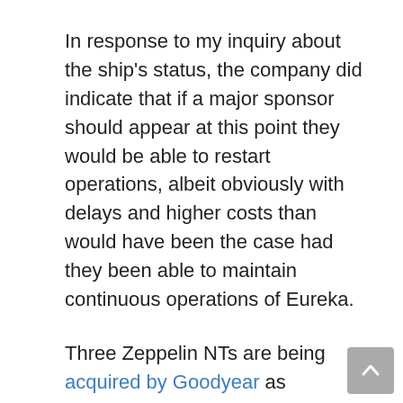In response to my inquiry about the ship's status, the company did indicate that if a major sponsor should appear at this point they would be able to restart operations, albeit obviously with delays and higher costs than would have been the case had they been able to maintain continuous operations of Eureka.
Three Zeppelin NTs are being acquired by Goodyear as replacements for their blimp fleet, so Americans will still be able to enjoy the sight of zeppelins in our skies…but it is unlikely that rides will be offered to people not closely connected to the Goodyear company.
Very sad. Hopefully, at some point an improving economy, combined with adequate sponsorship